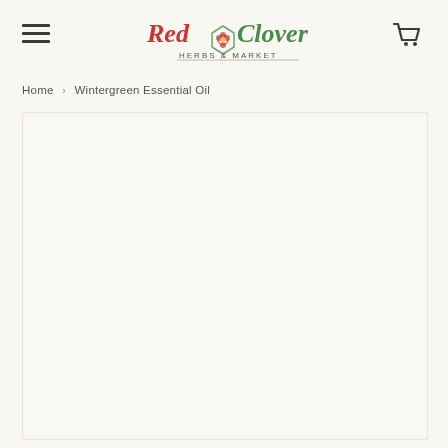Red Clover Herbs & Market
Home  Wintergreen Essential Oil
[Figure (photo): Product image area for Wintergreen Essential Oil — large white/cream box placeholder]